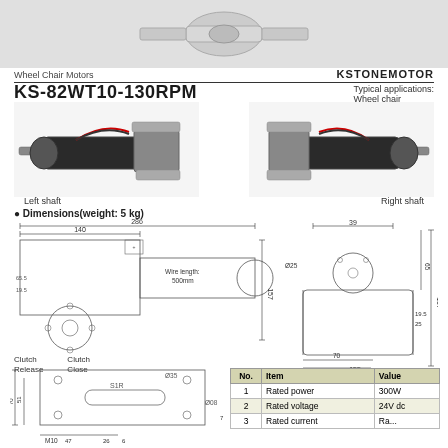[Figure (photo): Product photo of KS-82WT10-130RPM wheelchair motor, white background top]
Wheel Chair Motors    KSTONEMOTOR
KS-82WT10-130RPM
Typical applications:
Wheel chair
[Figure (photo): Left shaft motor product photo]
Left shaft
[Figure (photo): Right shaft motor product photo]
Right shaft
● Dimensions(weight: 5 kg)
[Figure (engineering-diagram): Left side view engineering dimension drawing showing 286mm length, 140mm, 157mm height, wire length 500mm, with circular flange]
[Figure (engineering-diagram): Right side view engineering dimension drawing showing 39mm, Ø25, 65mm, 19.5mm, 25mm, 157mm, 47mm, 15.5mm, 70mm, 155mm dimensions]
Clutch Release   Clutch Close
[Figure (engineering-diagram): Bottom/clutch view dimension drawing showing 70mm, 51mm, 47mm, 26mm, 6mm, M10, S1R, Ø35, Ø08 dimensions]
| No. | Item | Value |
| --- | --- | --- |
| 1 | Rated power | 300W |
| 2 | Rated voltage | 24V dc |
| 3 | ... | ... |